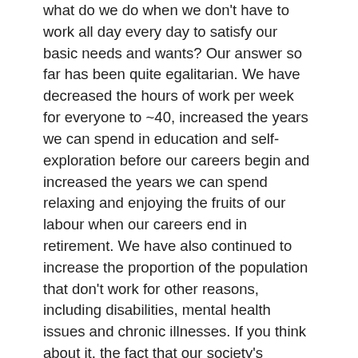what do we do when we don't have to work all day every day to satisfy our basic needs and wants? Our answer so far has been quite egalitarian. We have decreased the hours of work per week for everyone to ~40, increased the years we can spend in education and self-exploration before our careers begin and increased the years we can spend relaxing and enjoying the fruits of our labour when our careers end in retirement. We have also continued to increase the proportion of the population that don't work for other reasons, including disabilities, mental health issues and chronic illnesses. If you think about it, the fact that our society's productivity has increased substantially and we decided to spend that collective wealth by distributing it is fantastic and a great sign for the future.
But this is where we need to take an additional step. So far, we have distributed wealth quite equally in terms of time, but not in terms of money or resources. Nearly everyone has the right to retire at 65, but everyone does